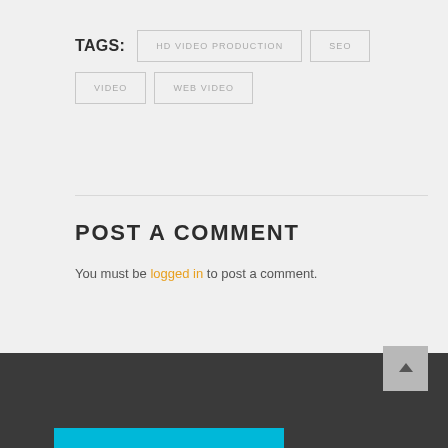TAGS: HD VIDEO PRODUCTION   SEO   VIDEO   WEB VIDEO
POST A COMMENT
You must be logged in to post a comment.